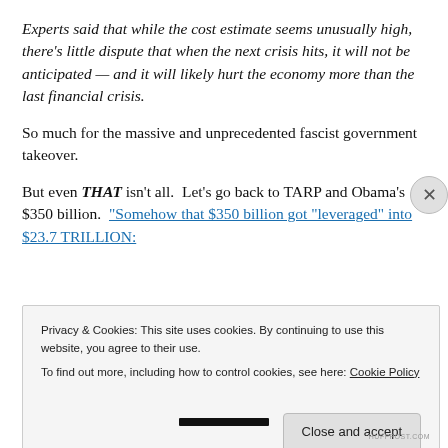Experts said that while the cost estimate seems unusually high, there's little dispute that when the next crisis hits, it will not be anticipated — and it will likely hurt the economy more than the last financial crisis.
So much for the massive and unprecedented fascist government takeover.
But even THAT isn't all.  Let's go back to TARP and Obama's $350 billion.  Somehow that $350 billion got "leveraged" into $23.7 TRILLION:
Privacy & Cookies: This site uses cookies. By continuing to use this website, you agree to their use.
To find out more, including how to control cookies, see here: Cookie Policy